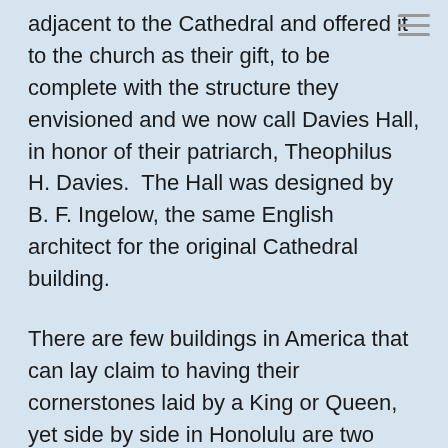adjacent to the Cathedral and offered it to the church as their gift, to be complete with the structure they envisioned and we now call Davies Hall, in honor of their patriarch, Theophilus H. Davies.  The Hall was designed by B. F. Ingelow, the same English architect for the original Cathedral building.
There are few buildings in America that can lay claim to having their cornerstones laid by a King or Queen, yet side by side in Honolulu are two together: St. Andrew's Cathedral, whose cornerstone was laid by King Kamehameha V on March 5, 1867, and Davies Hall, whose cornerstone was laid by Queen Lili'uokalani on May 9, 1906, using a silver trowel now kept in the Archives of